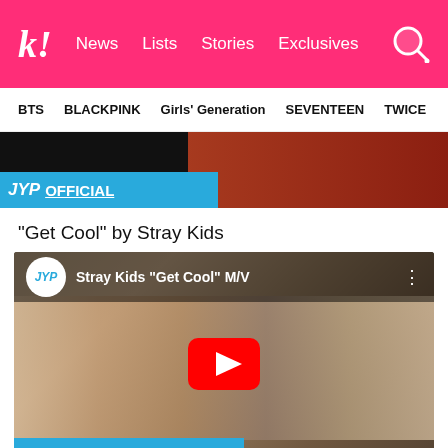k! News  Lists  Stories  Exclusives
BTS  BLACKPINK  Girls' Generation  SEVENTEEN  TWICE
[Figure (screenshot): Partial YouTube video thumbnail showing JYP OFFICIAL banner with blue background and colored content on right]
“Get Cool” by Stray Kids
[Figure (screenshot): YouTube embedded video player showing Stray Kids 'Get Cool' M/V with JYP logo, video title, group photo thumbnail with play button overlay and JYP OFFICIAL banner at bottom]